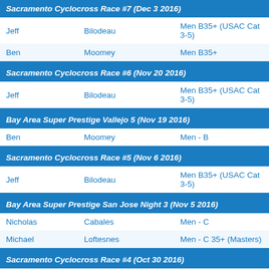Sacramento Cyclocross Race #7 (Dec 3 2016)
| First | Last | Category |
| --- | --- | --- |
| Jeff | Bilodeau | Men B35+ (USAC Cat 3-5) |
| Ben | Moomey | Men B35+ |
Sacramento Cyclocross Race #6 (Nov 20 2016)
| First | Last | Category |
| --- | --- | --- |
| Jeff | Bilodeau | Men B35+ (USAC Cat 3-5) |
Bay Area Super Prestige Vallejo 5 (Nov 19 2016)
| First | Last | Category |
| --- | --- | --- |
| Ben | Moomey | Men - B |
Sacramento Cyclocross Race #5 (Nov 6 2016)
| First | Last | Category |
| --- | --- | --- |
| Jeff | Bilodeau | Men B35+ (USAC Cat 3-5) |
Bay Area Super Prestige San Jose Night 3 (Nov 5 2016)
| First | Last | Category |
| --- | --- | --- |
| Nicholas | Cabales | Men - C |
| Michael | Loftesnes | Men - C 35+ (Masters) |
Sacramento Cyclocross Race #4 (Oct 30 2016)
| First | Last | Category |
| --- | --- | --- |
| Jeff | Bilodeau | Men B35+ (USAC Cat 3-5) |